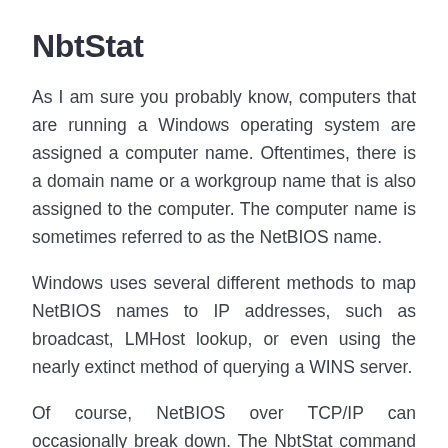NbtStat
As I am sure you probably know, computers that are running a Windows operating system are assigned a computer name. Oftentimes, there is a domain name or a workgroup name that is also assigned to the computer. The computer name is sometimes referred to as the NetBIOS name.
Windows uses several different methods to map NetBIOS names to IP addresses, such as broadcast, LMHost lookup, or even using the nearly extinct method of querying a WINS server.
Of course, NetBIOS over TCP/IP can occasionally break down. The NbtStat command can help you to diagnose and correct such problems. The NbtStat -n command for example, shows the NetBIOS names that are in use by a device. The NbtStat -r command shows how many